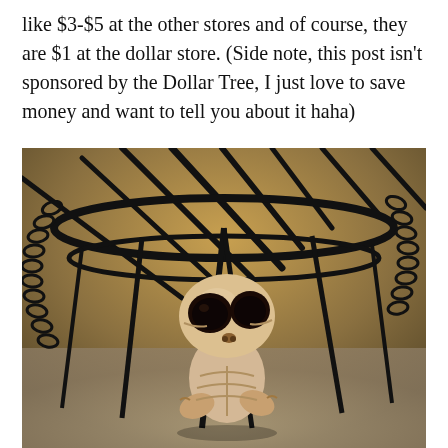like $3-$5 at the other stores and of course, they are $1 at the dollar store. (Side note, this post isn't sponsored by the Dollar Tree, I just love to save money and want to tell you about it haha)
[Figure (photo): Close-up photo of a small skeleton figurine with large dark eye sockets, set against a black wire cage/chandelier with chain links, and a blurred warm background.]